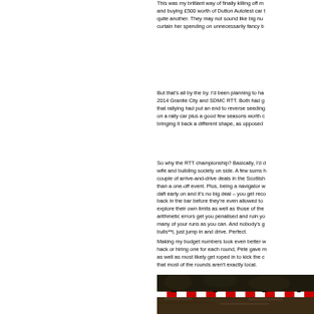This was my brilliant way of finally killing off my wife's concerns and buying £500 worth of Dutton Autotest car tools is one thing but quite another. They may not sound like big numbers but enough to curtain her spending on unnecessarily fancy b
But that's all by the by. I'd been planning to have a go at the 2014 Granite City and SDMC RTT. Both had gone well. And now that rallying had put an end to reverse seeding, spending money on a rally car plus a good few seasons worth of entry fees, then bringing it back a different shape, as opposed
So why the RTT championship? Basically, I'd done the sums with wife and building society on side. A few sums here and there, a couple of arrive-and-drive deals in the Scottish which was cheaper than a one-off event. Plus, being a navigator w daft early on and it's no big deal – you get reco back in the bar before they're even allowed to explore their own limits as well as those of the arithmetic errors get you penalised and ruin yo many of your runs as you can. And nobody's g bulls**t, just jump in and drive. Perfect.
Making my budget numbers look even better w hack or hiring one for each round, Pete gave m as well as most likely get roped in to kick the c that most of the rounds aren't exactly local.
[Figure (photo): A photograph showing rally event tape/barrier with red and white striped tape in an outdoor wooded setting at night or low light conditions.]